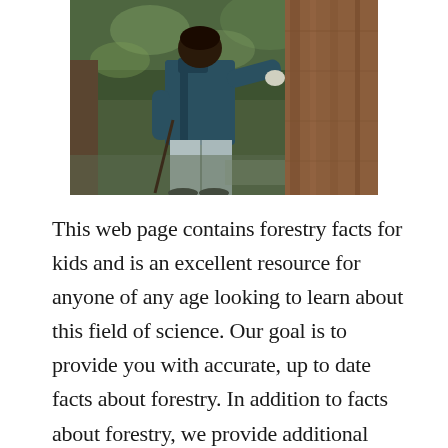[Figure (photo): A person in a dark teal/navy jacket and light grey pants standing with their back to the camera, touching a large reddish-brown tree trunk in a lush green forest.]
This web page contains forestry facts for kids and is an excellent resource for anyone of any age looking to learn about this field of science. Our goal is to provide you with accurate, up to date facts about forestry. In addition to facts about forestry, we provide additional resources where